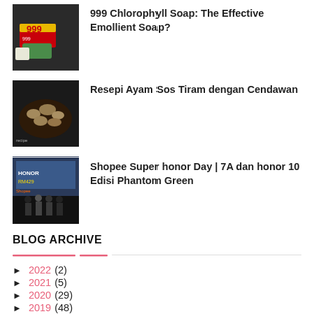[Figure (photo): Thumbnail image of 999 Chlorophyll soap bar products]
999 Chlorophyll Soap: The Effective Emollient Soap?
[Figure (photo): Thumbnail image of chicken with oyster mushroom dish]
Resepi Ayam Sos Tiram dengan Cendawan
[Figure (photo): Thumbnail image of Shopee Super honor Day event with people on stage]
Shopee Super honor Day | 7A dan honor 10 Edisi Phantom Green
BLOG ARCHIVE
► 2022 (2)
► 2021 (5)
► 2020 (29)
► 2019 (48)
► 2018 (74)